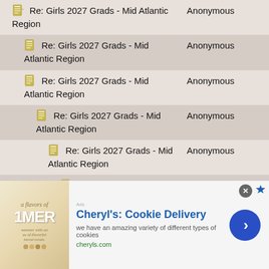| Topic | Author |
| --- | --- |
| Re: Girls 2027 Grads - Mid Atlantic Region | Anonymous |
| Re: Girls 2027 Grads - Mid Atlantic Region | Anonymous |
| Re: Girls 2027 Grads - Mid Atlantic Region | Anonymous |
| Re: Girls 2027 Grads - Mid Atlantic Region | Anonymous |
| Re: Girls 2027 Grads - Mid Atlantic Region | Anonymous |
| Re: Girls 2027 Grads - Mid Atlantic Region | Anonymous |
| Re: Girls 2027 Grads - Mid Atlantic Region | Anonymous |
| Re: Girls 2027 Grads - Mid Atlantic Region | Anonymous |
[Figure (screenshot): Advertisement banner for Cheryl's Cookie Delivery showing cookie products image on left, ad title 'Cheryl's: Cookie Delivery', subtitle 'we have an amazing variety of different types of cookies', domain 'cheryls.com', and a blue circular CTA button with arrow on right.]